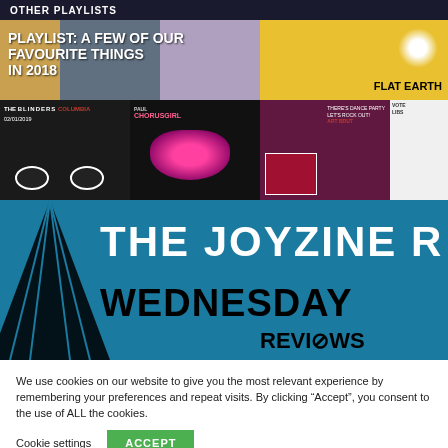OTHER PLAYLISTS
PLAYLIST: A FEW OF OUR FAVOURITE THINGS IN 2018
[Figure (photo): Grid of music playlist album art thumbnails including Flat Earth, The Blinders Columbia, Paul Chorusgirl, and other music artwork]
[Figure (illustration): The Joyzine R... blue banner with large white bold text 'THE JOYZINE R' and black text 'WEDNESDAY' and 'REVIEWS' with a black pyramid/building silhouette on the left]
We use cookies on our website to give you the most relevant experience by remembering your preferences and repeat visits. By clicking “Accept”, you consent to the use of ALL the cookies.
Cookie settings
ACCEPT